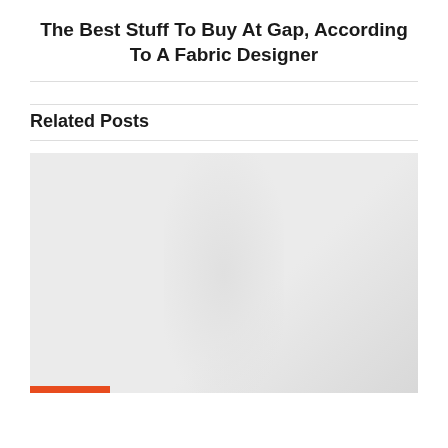The Best Stuff To Buy At Gap, According To A Fabric Designer
Related Posts
[Figure (photo): A placeholder/loading image block with a light gray background and a partial orange bar visible at the bottom left corner, indicating a related post image.]